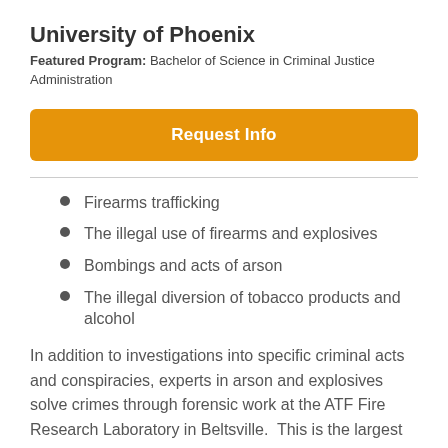University of Phoenix
Featured Program: Bachelor of Science in Criminal Justice Administration
[Figure (other): Orange 'Request Info' button]
Firearms trafficking
The illegal use of firearms and explosives
Bombings and acts of arson
The illegal diversion of tobacco products and alcohol
In addition to investigations into specific criminal acts and conspiracies, experts in arson and explosives solve crimes through forensic work at the ATF Fire Research Laboratory in Beltsville.  This is the largest